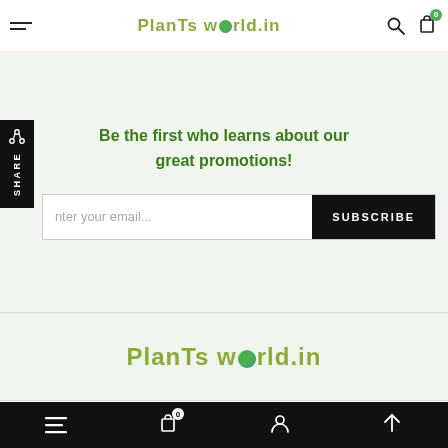PlanTs world.in
Be the first who learns about our great promotions!
Enter your email...
SUBSCRIBE
[Figure (logo): PlanTs world.in logo in olive/green text with globe icon replacing the 'o' in world]
Portulaca Molokiniensis – Succulent Plant
ADD TO CART
Bottom navigation bar with menu, cart (0), user, and up arrow icons